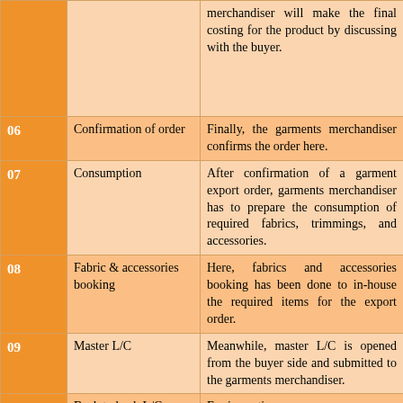| # | Step | Description |
| --- | --- | --- |
|  |  | merchandiser will make the final costing for the product by discussing with the buyer. |
| 06 | Confirmation of order | Finally, the garments merchandiser confirms the order here. |
| 07 | Consumption | After confirmation of a garment export order, garments merchandiser has to prepare the consumption of required fabrics, trimmings, and accessories. |
| 08 | Fabric & accessories booking | Here, fabrics and accessories booking has been done to in-house the required items for the export order. |
| 09 | Master L/C | Meanwhile, master L/C is opened from the buyer side and submitted to the garments merchandiser. |
| 10 | Back to back L/C | For importing raw m... for the export orde... manufacturer has to op... to back L/C. |